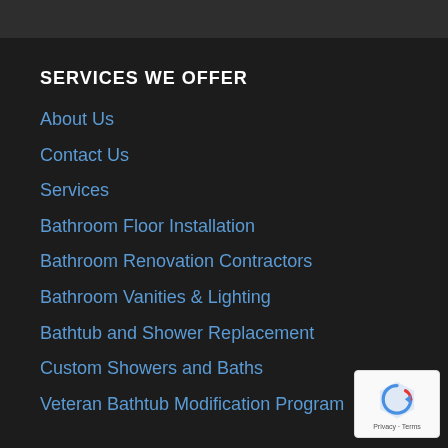SERVICES WE OFFER
About Us
Contact Us
Services
Bathroom Floor Installation
Bathroom Renovation Contractors
Bathroom Vanities & Lighting
Bathtub and Shower Replacement
Custom Showers and Baths
Veteran Bathtub Modification Program